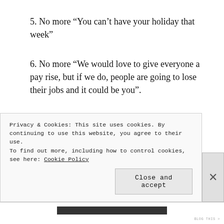5. No more “You can’t have your holiday that week”
6. No more “We would love to give everyone a pay rise, but if we do, people are going to lose their jobs and it could be you”.
7. No more “You are just going to have to work longer hours for less money!”
8. No more not knowing if you have a job next month.
Privacy & Cookies: This site uses cookies. By continuing to use this website, you agree to their use.
To find out more, including how to control cookies, see here: Cookie Policy
Close and accept